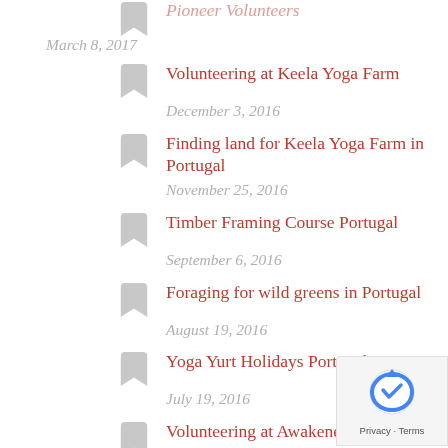Pioneer Volunteers
March 8, 2017
Volunteering at Keela Yoga Farm
December 3, 2016
Finding land for Keela Yoga Farm in Portugal
November 25, 2016
Timber Framing Course Portugal
September 6, 2016
Foraging for wild greens in Portugal
August 19, 2016
Yoga Yurt Holidays Portugal
July 19, 2016
Volunteering at Awakened Life Project Portugal
June...